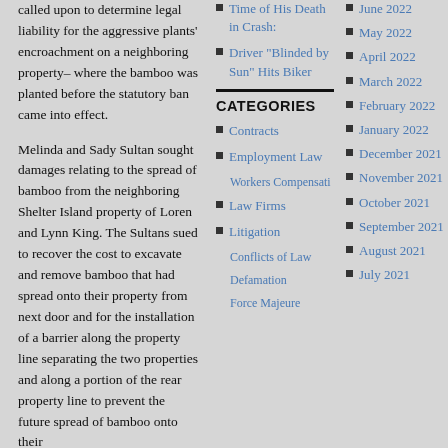called upon to determine legal liability for the aggressive plants' encroachment on a neighboring property– where the bamboo was planted before the statutory ban came into effect.
Melinda and Sady Sultan sought damages relating to the spread of bamboo from the neighboring Shelter Island property of Loren and Lynn King. The Sultans sued to recover the cost to excavate and remove bamboo that had spread onto their property from next door and for the installation of a barrier along the property line separating the two properties and along a portion of the rear property line to prevent the future spread of bamboo onto their
Time of His Death in Crash:
Driver "Blinded by Sun" Hits Biker
CATEGORIES
Contracts
Employment Law
Workers Compensation
Law Firms
Litigation
Conflicts of Law
Defamation
Force Majeure
June 2022
May 2022
April 2022
March 2022
February 2022
January 2022
December 2021
November 2021
October 2021
September 2021
August 2021
July 2021